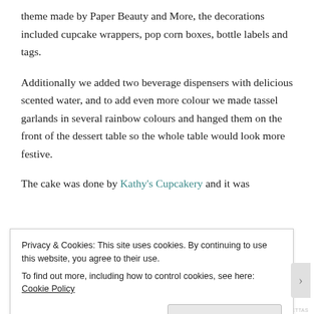theme made by Paper Beauty and More, the decorations included cupcake wrappers, pop corn boxes, bottle labels and tags.
Additionally we added two beverage dispensers with delicious scented water, and to add even more colour we made tassel garlands in several rainbow colours and hanged them on the front of the dessert table so the whole table would look more festive.
The cake was done by Kathy's Cupcakery and it was
Privacy & Cookies: This site uses cookies. By continuing to use this website, you agree to their use.
To find out more, including how to control cookies, see here: Cookie Policy
Close and accept